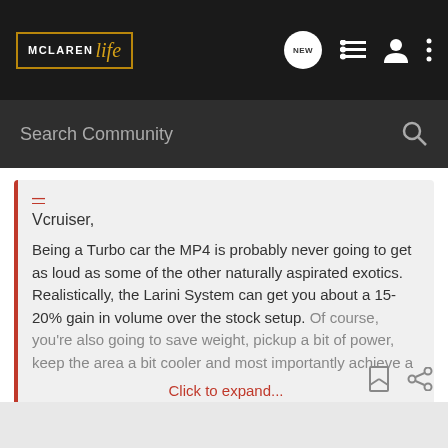McLaren Life — Search Community
Vcruiser,
Being a Turbo car the MP4 is probably never going to get as loud as some of the other naturally aspirated exotics. Realistically, the Larini System can get you about a 15-20% gain in volume over the stock setup. Of course, you're also going to save weight, pickup a bit of power, keep the area a bit cooler and most importantly achieve a Click to expand...
Do you have a high res version of the pic in your avatar? Looks badass.